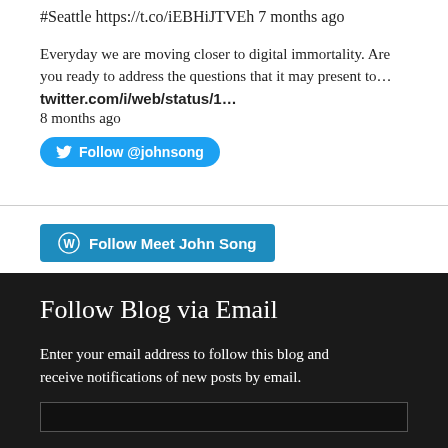#Seattle https://t.co/iEBHiJTVEh 7 months ago
Everyday we are moving closer to digital immortality. Are you ready to address the questions that it may present to… twitter.com/i/web/status/1… 8 months ago
[Figure (other): Twitter Follow @johnsong button (blue rounded pill button with Twitter bird icon)]
[Figure (other): WordPress Follow Meet John Song button (blue rectangular button with WordPress icon)]
Follow Blog via Email
Enter your email address to follow this blog and receive notifications of new posts by email.